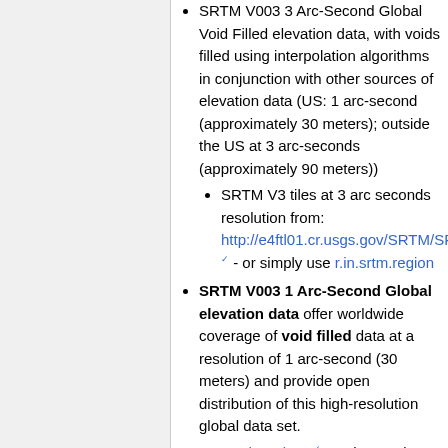SRTM V003 3 Arc-Second Global Void Filled elevation data, with voids filled using interpolation algorithms in conjunction with other sources of elevation data (US: 1 arc-second (approximately 30 meters); outside the US at 3 arc-seconds (approximately 90 meters))
SRTM V3 tiles at 3 arc seconds resolution from: http://e4ftl01.cr.usgs.gov/SRTM/SRTMGL3.003/2000.02.11/ - or simply use r.in.srtm.region
SRTM V003 1 Arc-Second Global elevation data offer worldwide coverage of void filled data at a resolution of 1 arc-second (30 meters) and provide open distribution of this high-resolution global data set.
EarthExplorer can be used to